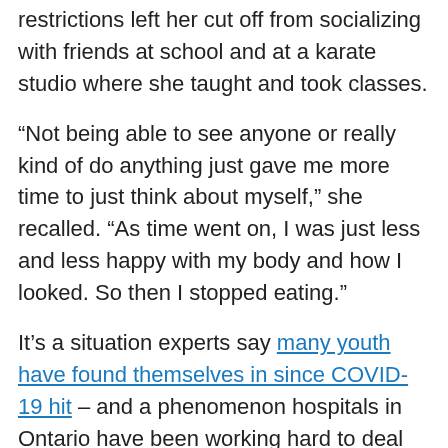restrictions left her cut off from socializing with friends at school and at a karate studio where she taught and took classes.
“Not being able to see anyone or really kind of do anything just gave me more time to just think about myself,” she recalled. “As time went on, I was just less and less happy with my body and how I looked. So then I stopped eating.”
It’s a situation experts say many youth have found themselves in since COVID-19 hit – and a phenomenon hospitals in Ontario have been working hard to deal with.
In the last year, Toronto’s Hospital for Sick Children said it has seen a 35 per cent annual increase in admissions